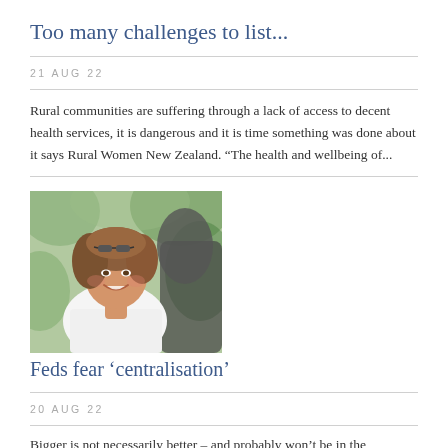Too many challenges to list...
21 AUG 22
Rural communities are suffering through a lack of access to decent health services, it is dangerous and it is time something was done about it says Rural Women New Zealand. “The health and wellbeing of...
[Figure (photo): Portrait photo of a smiling woman with curly brown hair and sunglasses on her head, outdoors with green foliage background]
Feds fear ‘centralisation’
20 AUG 22
Bigger is not necessarily better – and probably won’t be in the